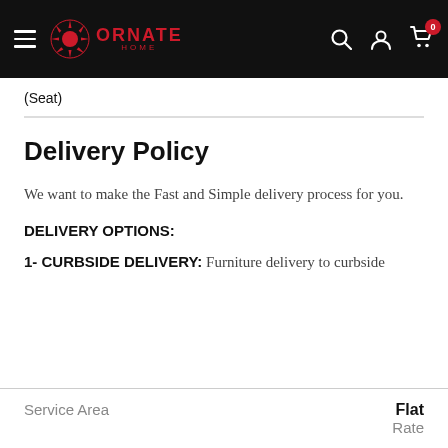Ornate Home — navigation bar with hamburger menu, logo, search, account, and cart icons
(Seat)
Delivery Policy
We want to make the Fast and Simple delivery process for you.
DELIVERY OPTIONS:
1- CURBSIDE DELIVERY: Furniture delivery to curbside
| Service Area | Flat Rate |
| --- | --- |